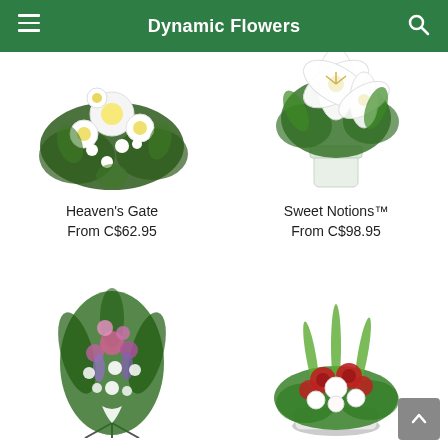Dynamic Flowers
[Figure (photo): Heaven's Gate flower arrangement with white gerbera daisies and mixed white flowers with green foliage]
Heaven's Gate
From C$62.95
[Figure (photo): Sweet Notions arrangement with white lilies in a white cylindrical vase with green leaves]
Sweet Notions™
From C$98.95
[Figure (photo): Standing spray funeral arrangement with pink and purple mixed flowers, ferns, on a metal stand]
[Figure (photo): Red and white flower basket arrangement with red roses, white carnations and green accents in white container]